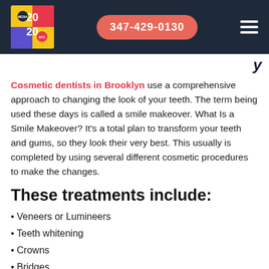[Figure (logo): Colorful 2020 Media NYC logo with red, yellow, blue squares]
347-429-0130
Cosmetic dentists in Brooklyn use a comprehensive approach to changing the look of your teeth. The term being used these days is called a smile makeover. What Is a Smile Makeover? It’s a total plan to transform your teeth and gums, so they look their very best. This usually is completed by using several different cosmetic procedures to make the changes.
These treatments include:
Veneers or Lumineers
Teeth whitening
Crowns
Bridges